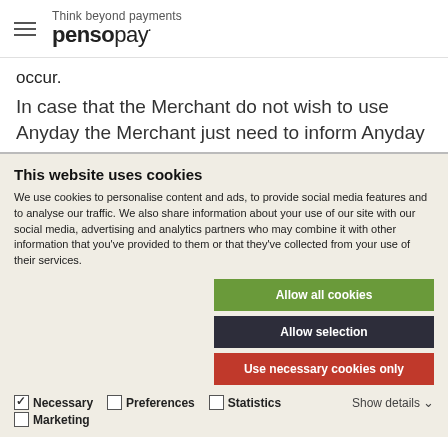Think beyond payments pensopay
occur.
In case that the Merchant do not wish to use Anyday the Merchant just need to inform Anyday
This website uses cookies
We use cookies to personalise content and ads, to provide social media features and to analyse our traffic. We also share information about your use of our site with our social media, advertising and analytics partners who may combine it with other information that you've provided to them or that they've collected from your use of their services.
Allow all cookies | Allow selection | Use necessary cookies only
Necessary  Preferences  Statistics  Show details  Marketing